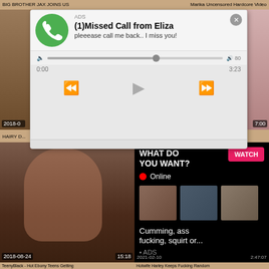BIG BROTHER JAX JOINS US | Marika Uncensored Hardcore Video
[Figure (screenshot): Audio/voicemail ad overlay showing missed call from Eliza with phone icon, progress bar, playback controls, timestamps 0:00 and 3:23]
HAIRY D...
[Figure (screenshot): Video thumbnail of woman, date 2018-08-24, duration 15:18]
[Figure (screenshot): Ad overlay: WHAT DO YOU WANT? WATCH button, Online indicator, thumbnail images, text: Cumming, ass fucking, squirt or... ADS, date 2021-02-10, duration 2:47:07]
TeenyBlack - Hot Ebony Teens Getting
Hotwife Harley Keeps Fucking Random
[Figure (screenshot): Bottom left video thumbnail, partially visible]
[Figure (screenshot): Bottom right video thumbnail showing older man and woman on couch]